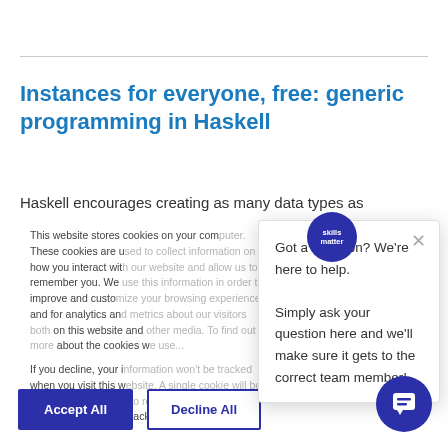Instances for everyone, free: generic programming in Haskell
Haskell encourages creating as many data types as
This website stores cookies on your computer. These cookies are used to collect information on how you interact with our website and allow us to remember you. We use this information in order to improve and customize your browsing experience and for analytics and metrics about our visitors both on this website and other media. To find out more about the cookies we use...
If you decline, your information won't be tracked when you visit this website. A single cookie will be used in your browser to remember your preference not to be tracked.
Got a question? We're here to help.
Simply ask your question here and we'll make sure it gets to the correct team member!